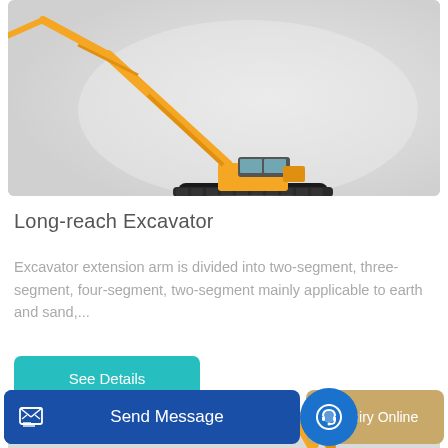[Figure (photo): Yellow long-reach excavator with extended arm and bucket, shown on light grey gradient background, product photo]
Long-reach Excavator
Excavator extension arm is divided into two-segment, three-segment, four-segment, two-segment mainly applicable to earth and sand,...
[Figure (other): Teal/cyan rounded button labeled 'See Details']
[Figure (photo): Partial view of yellow excavator arm at bottom of page]
[Figure (other): Bottom action bar with 'Send Message' button in blue and 'Inquiry Online' button in gold/tan, with icons]